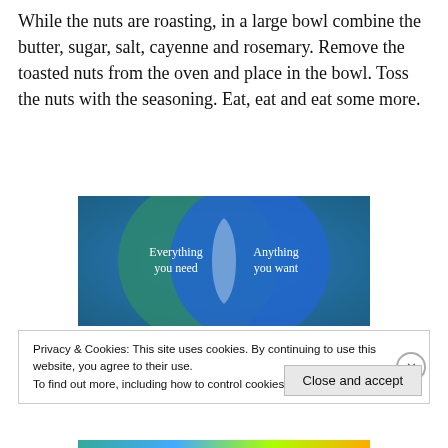While the nuts are roasting, in a large bowl combine the butter, sugar, salt, cayenne and rosemary. Remove the toasted nuts from the oven and place in the bowl. Toss the nuts with the seasoning. Eat, eat and eat some more.
[Figure (infographic): Venn diagram with two overlapping circles on a blue-green gradient background. Left circle label: 'Everything you need'. Right circle label: 'Anything you want'. The overlapping region is a lighter blue-grey lens shape.]
Privacy & Cookies: This site uses cookies. By continuing to use this website, you agree to their use.
To find out more, including how to control cookies, see here: Cookie Policy
Close and accept